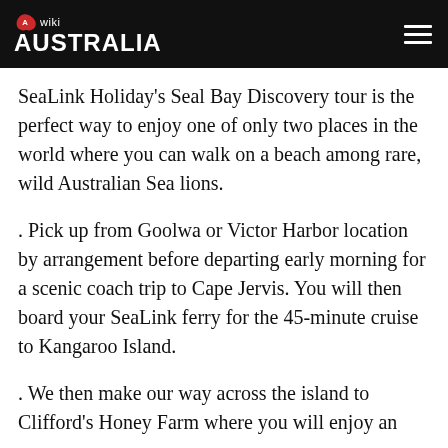wiki AUSTRALIA
SeaLink Holiday’s Seal Bay Discovery tour is the perfect way to enjoy one of only two places in the world where you can walk on a beach among rare, wild Australian Sea lions.
. Pick up from Goolwa or Victor Harbor location by arrangement before departing early morning for a scenic coach trip to Cape Jervis. You will then board your SeaLink ferry for the 45-minute cruise to Kangaroo Island.
. We then make our way across the island to Clifford’s Honey Farm where you will enjoy an